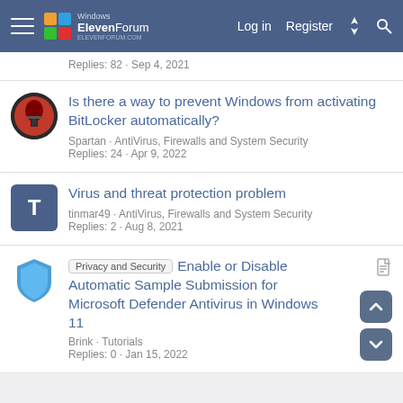Windows ElevenForum — Log in | Register
Replies: 82 · Sep 4, 2021
Is there a way to prevent Windows from activating BitLocker automatically?
Spartan · AntiVirus, Firewalls and System Security
Replies: 24 · Apr 9, 2022
Virus and threat protection problem
tinmar49 · AntiVirus, Firewalls and System Security
Replies: 2 · Aug 8, 2021
Enable or Disable Automatic Sample Submission for Microsoft Defender Antivirus in Windows 11
Brink · Tutorials
Replies: 0 · Jan 15, 2022